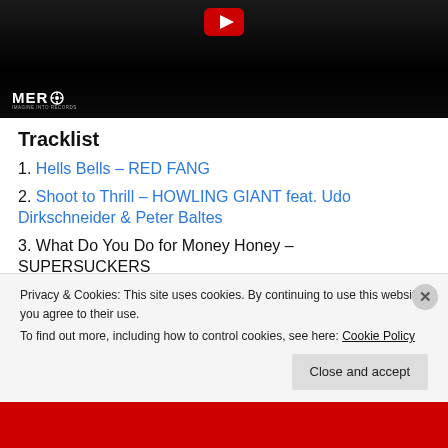[Figure (screenshot): YouTube video thumbnail with dark/black background, YouTube play button at top, MERO logo with star icon at bottom left]
Tracklist
1. Hells Bells – RED FANG
2. Shoot to Thrill – HOWLING GIANT feat. Udo Dirkschneider & Peter Baltes
3. What Do You Do for Money Honey – SUPERSUCKERS
4. Givin the Dog a Bone – SMOKING LIGHTNING
Privacy & Cookies: This site uses cookies. By continuing to use this website, you agree to their use.
To find out more, including how to control cookies, see here: Cookie Policy
Close and accept